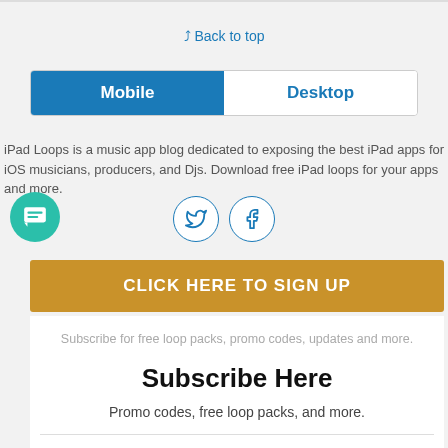⋀⋀ Back to top
[Figure (screenshot): Tab switcher with Mobile (active, blue) and Desktop tabs]
iPad Loops is a music app blog dedicated to exposing the best iPad apps for iOS musicians, producers, and Djs. Download free iPad loops for your apps and more.
[Figure (screenshot): Twitter and Facebook social icon buttons (circular, outlined)]
[Figure (screenshot): Green chat/message bubble floating icon]
CLICK HERE TO SIGN UP
Subscribe for free loop packs, promo codes, updates and more.
Subscribe Here
Promo codes, free loop packs, and more.
Email